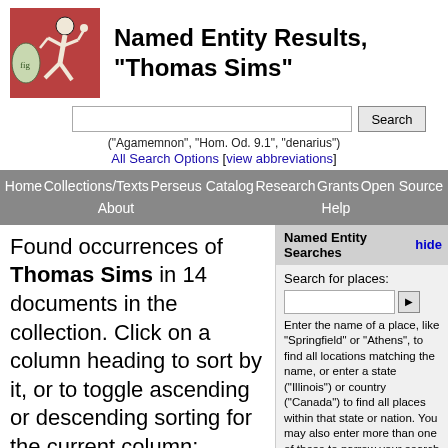[Figure (logo): Perseus Project logo: terracotta-red square with illustration of a running Greek figure in white]
Named Entity Results, "Thomas Sims"
("Agamemnon", "Hom. Od. 9.1", "denarius")
All Search Options [view abbreviations]
Home | Collections/Texts | Perseus Catalog | Research | Grants | Open Source | About | Help
Found occurrences of Thomas Sims in 14 documents in the collection. Click on a column heading to sort by it, or to toggle ascending or descending sorting for the current column:
Click on a number to view all occurrences of the entity in the selected document
| Document ↑ | Max. Freq. | Min. Freq. |
| --- | --- | --- |
| Horace Greeley, The American Conflict: A History of the Great Rebellion in the United States of America, 1860-65: its Causes, incidents ... |  |  |
Named Entity Searches
Search for places:
Enter the name of a place, like "Springfield" or "Athens", to find all locations matching the name, or enter a state ("Illinois") or country ("Canada") to find all places within that state or nation. You may also enter more than one of these to narrow your search ("Athens, Greece" or "Springfield, Illinois, United States").
Note that abbreviations ("USA", "Ill.") do not work at present--please stick to full names!
Search for a